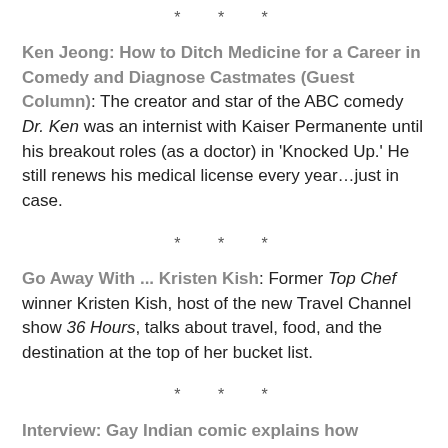* * *
Ken Jeong: How to Ditch Medicine for a Career in Comedy and Diagnose Castmates (Guest Column): The creator and star of the ABC comedy Dr. Ken was an internist with Kaiser Permanente until his breakout roles (as a doctor) in 'Knocked Up.' He still renews his medical license every year…just in case.
* * *
Go Away With ... Kristen Kish: Former Top Chef winner Kristen Kish, host of the new Travel Channel show 36 Hours, talks about travel, food, and the destination at the top of her bucket list.
* * *
Interview: Gay Indian comic explains how invisibility fuels homophobia: Comedian Nik Dodani talks about coming out to his family, LGBT comedy, and how invisibility